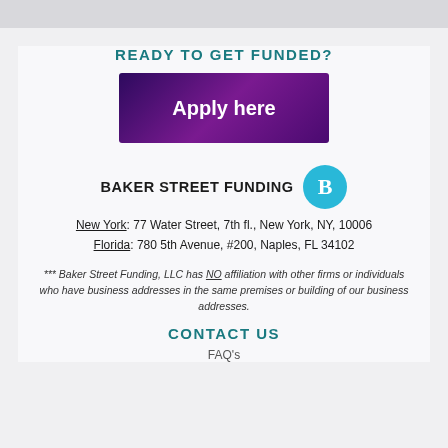READY TO GET FUNDED?
[Figure (other): Purple gradient button with text 'Apply here']
BAKER STREET FUNDING [logo]
New York: 77 Water Street, 7th fl., New York, NY, 10006
Florida: 780 5th Avenue, #200, Naples, FL 34102
*** Baker Street Funding, LLC has NO affiliation with other firms or individuals who have business addresses in the same premises or building of our business addresses.
CONTACT US
FAQ's